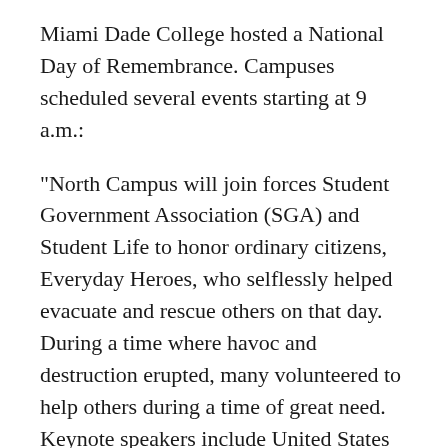Miami Dade College hosted a National Day of Remembrance. Campuses scheduled several events starting at 9 a.m.:
"North Campus will join forces Student Government Association (SGA) and Student Life to honor ordinary citizens, Everyday Heroes, who selflessly helped evacuate and rescue others on that day. During a time where havoc and destruction erupted, many volunteered to help others during a time of great need. Keynote speakers include United States Coast Guard's Vice-Commander of Flotilla 38, David M. Scott, and MDC North and InterAmerican Campuses' President, Dr. Malou C. Harrison," the college announced.
The college also said, "The North Campus is home to